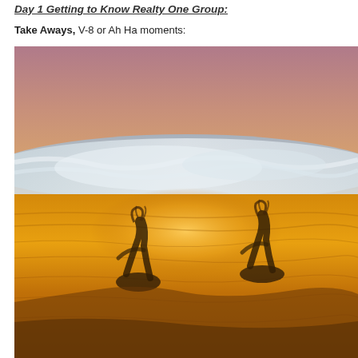Day 1 Getting to Know Realty One Group:
Take Aways, V-8 or Ah Ha moments:
[Figure (photo): A beach sunset photograph showing warm golden-orange light reflecting on wet sand near the shoreline. Ocean waves with white foam are visible in the upper portion of the image, and two dark silhouetted figures or shadows are reflected in the golden wet sand below.]